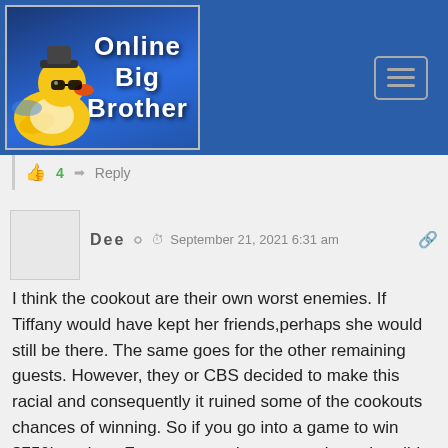[Figure (logo): Online Big Brother website logo with rubber duck mascot wearing sunglasses and hat on blue background]
👍 4   ➜ Reply
Dee   September 21, 2021 6:31 am
I think the cookout are their own worst enemies. If Tiffany would have kept her friends,perhaps she would still be there. The same goes for the other remaining guests. However, they or CBS decided to make this racial and consequently it ruined some of the cookouts chances of winning. So if you go into a game to win $750k and get Zero, to try and prove a point,, what did you accomplish. Did you really play that game? Or were you a pawn for CBS?
👍 31   ➜ Reply